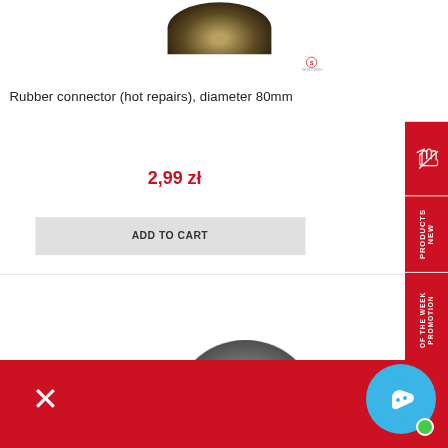[Figure (photo): Dark metallic circular rubber connector viewed from above, partially cropped at top]
[Figure (logo): Swislowski brand logo - circular icon with S and text SWISLOWSKI below]
Rubber connector (hot repairs), diameter 80mm
2,99 zł
ADD TO CART
[Figure (photo): Second metallic circular rubber connector product image, partially visible]
[Figure (illustration): Red sidebar panel with white hand/glove icon]
NEW PRODUCTS
PROMOTION OF THE WEEK